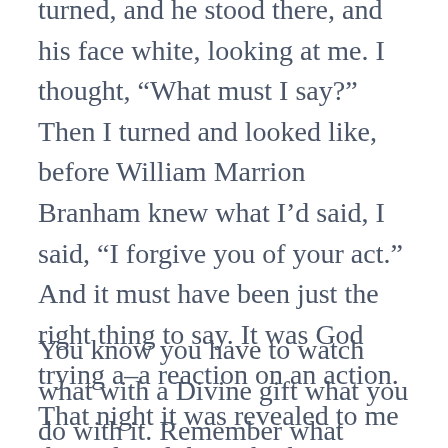turned, and he stood there, and his face white, looking at me. I thought, “What must I say?” Then I turned and looked like, before William Marrion Branham knew what I’d said, I said, “I forgive you of your act.” And it must have been just the right thing to say. It was God trying a–a reaction on an action. That night it was revealed to me that I’d said the right thing. I knew it was all leading to something, but what was it? What to do?
You know you have to watch what with a Divine gift what you do with it. Remember what Moses did? So I must’ve said the right